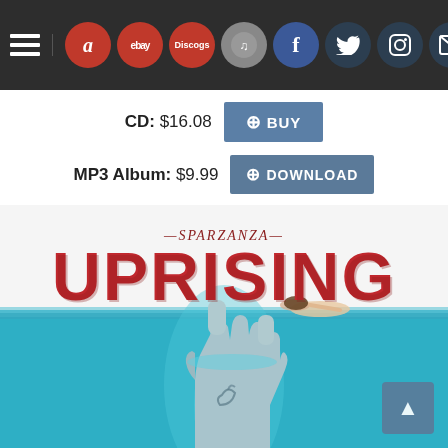[Figure (screenshot): Navigation bar with hamburger menu, Amazon, eBay, Discogs, Last.fm, Facebook, Twitter, Instagram, and email circular icon buttons on dark background]
CD: $16.08
⊕ BUY
MP3 Album: $9.99
⊕ DOWNLOAD
[Figure (photo): Sparzanza Uprising album cover - parody of Jaws movie poster with large rock hand gesture emerging from blue water and swimmer at surface, red block letters say UPRISING with Sparzanza text above]